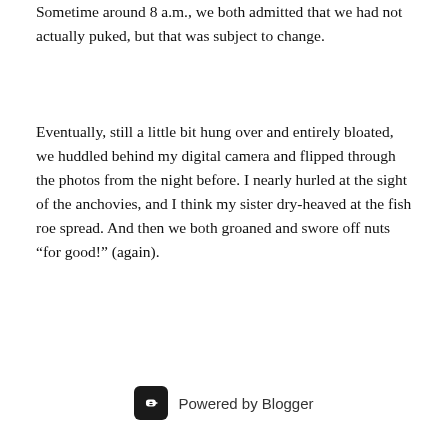Sometime around 8 a.m., we both admitted that we had not actually puked, but that was subject to change.
Eventually, still a little bit hung over and entirely bloated, we huddled behind my digital camera and flipped through the photos from the night before. I nearly hurled at the sight of the anchovies, and I think my sister dry-heaved at the fish roe spread. And then we both groaned and swore off nuts “for good!” (again).
Powered by Blogger